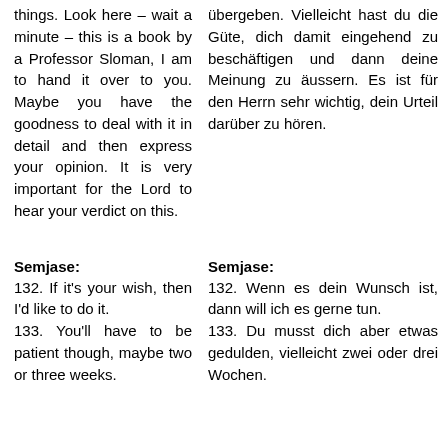things. Look here – wait a minute – this is a book by a Professor Sloman, I am to hand it over to you. Maybe you have the goodness to deal with it in detail and then express your opinion. It is very important for the Lord to hear your verdict on this.
übergeben. Vielleicht hast du die Güte, dich damit eingehend zu beschäftigen und dann deine Meinung zu äussern. Es ist für den Herrn sehr wichtig, dein Urteil darüber zu hören.
Semjase:
Semjase:
132. If it's your wish, then I'd like to do it. 133. You'll have to be patient though, maybe two or three weeks.
132. Wenn es dein Wunsch ist, dann will ich es gerne tun. 133. Du musst dich aber etwas gedulden, vielleicht zwei oder drei Wochen.